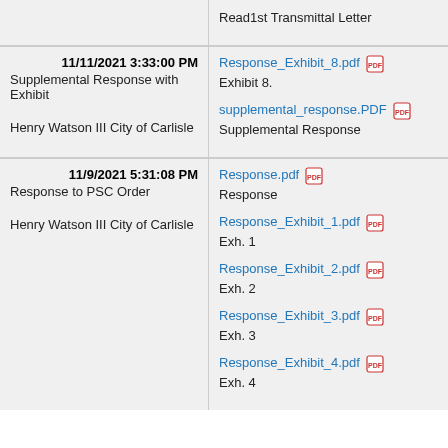| Filing Info | Documents |
| --- | --- |
| Read1st Transmittal Letter |  |
| 11/11/2021 3:33:00 PM
Supplemental Response with Exhibit
Henry Watson III City of Carlisle | Response_Exhibit_8.pdf
Exhibit 8.
supplemental_response.PDF
Supplemental Response |
| 11/9/2021 5:31:08 PM
Response to PSC Order
Henry Watson III City of Carlisle | Response.pdf
Response
Response_Exhibit_1.pdf
Exh. 1
Response_Exhibit_2.pdf
Exh. 2
Response_Exhibit_3.pdf
Exh. 3
Response_Exhibit_4.pdf
Exh. 4 |